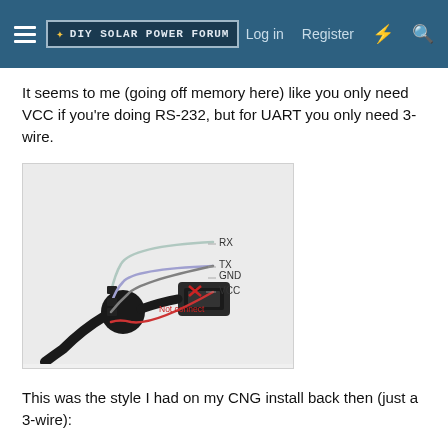DIY Solar Power Forum | Log in | Register
It seems to me (going off memory here) like you only need VCC if you're doing RS-232, but for UART you only need 3-wire.
[Figure (photo): USB to UART/TTL cable with 4 wires (RX, TX, GND, VCC) labeled. The VCC wire is crossed out labeled 'Not connect' in red, indicating only RX, TX, GND are needed for 3-wire UART connection.]
This was the style I had on my CNG install back then (just a 3-wire):